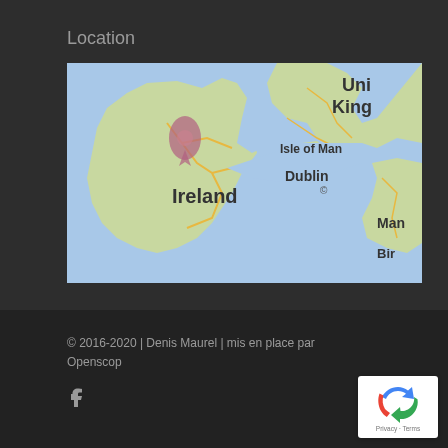Location
[Figure (map): Google Maps view showing Ireland with a location pin in northwest Ireland, Dublin marked, Isle of Man visible, and partial UK labels on the right edge.]
© 2016-2020 | Denis Maurel | mis en place par Openscop
[Figure (logo): reCAPTCHA badge with Privacy and Terms text]